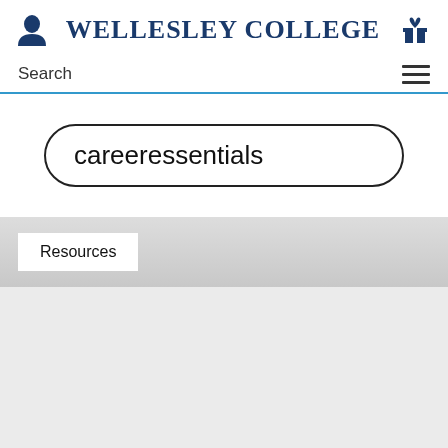WELLESLEY COLLEGE
Search
careeressentials
Resources